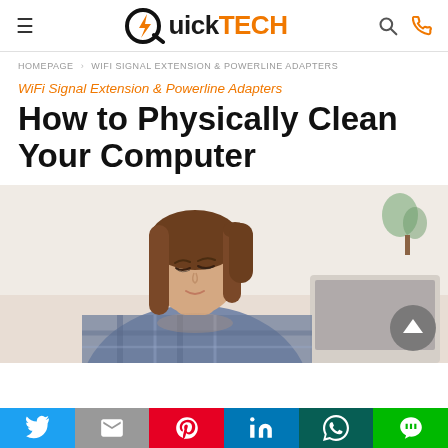QuickTECH — hamburger menu, logo, search, phone icons
HOMEPAGE > WIFI SIGNAL EXTENSION & POWERLINE ADAPTERS
WiFi Signal Extension & Powerline Adapters
How to Physically Clean Your Computer
[Figure (photo): Young woman with long brown hair leaning over a laptop computer, wearing a plaid shirt, photographed from slightly above in a bright room.]
Social share bar: Twitter, Gmail, Pinterest, LinkedIn, WhatsApp, LINE